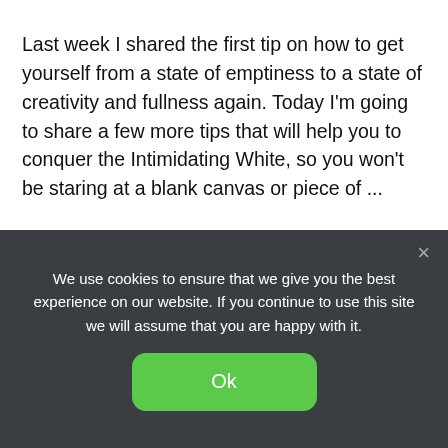Last week I shared the first tip on how to get yourself from a state of emptiness to a state of creativity and fullness again. Today I'm going to share a few more tips that will help you to conquer the Intimidating White, so you won't be staring at a blank canvas or piece of ...
[Figure (photo): Photo with decorative words 'monday', 'ionals', 'bed.' written in large black italic letters on a light blue background, oriented at angles]
We use cookies to ensure that we give you the best experience on our website. If you continue to use this site we will assume that you are happy with it.
Ok